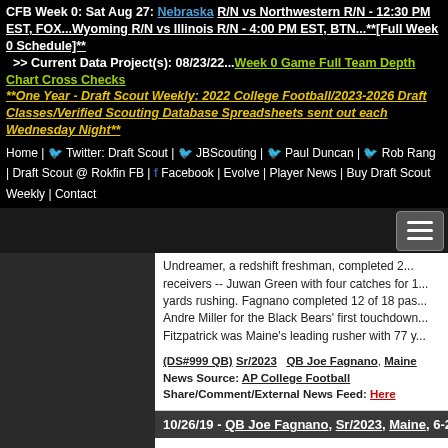CFB Week 0: Sat Aug 27: Nebraska R/N vs Northwestern R/N - 12:30 PM EST, FOX...Wyoming R/N vs Illinois R/N - 4:00 PM EST, BTN...**[Full Week 0 Schedule]**
>> Current Data Project(s): 08/23/22...Week 0 Game Full Team Depth Chart Cross Checks
**One Year - Draft Scout Weekly: 2022 College Football/2023-2026 Draft Classes/Verified Scouting Database Spreadsheets sent out each Wednesday Night**
Home | Twitter: Draft Scout | JBScouting | Paul Duncan | Rob Rang | Draft Scout @ Rokfin FB | Facebook | Evolve | Player News | Buy Draft Scout Weekly | Contact
Undreamer, a redshift freshman, completed 2... receivers -- Juwan Green with four catches for 1... yards rushing. Fagnano completed 12 of 18 pas... Andre Miller for the Black Bears' first touchdown... Fitzpatrick was Maine's leading rusher with 77 y...
(DS#999 QB) Sr/2023    QB Joe Fagnano, Maine
News Source: AP College Football
Share/Comment/External News Feed: Here
10/26/19 - QB Joe Fagnano, Sr/2023, Maine, 6-2, 2...
Joe Fagnano ran threw for 249 yards and two... leads of 6-0 and 12-7 but couldn't make them h... give Maine (3-5, 1/3 Colonial Athletic Associatio...